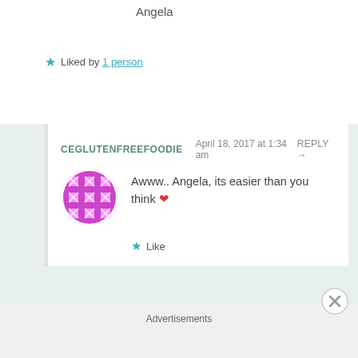Angela
★ Liked by 1 person
CEGLUTENFREEFOODIE   April 18, 2017 at 1:34 am   REPLY →
Awww.. Angela, its easier than you think ❤
★ Like
NOSTALGIA DIARIES   April 18, 2017 at 1:07 am   REPLY →
This looks delicious! I love simple recipes like this.
Advertisements